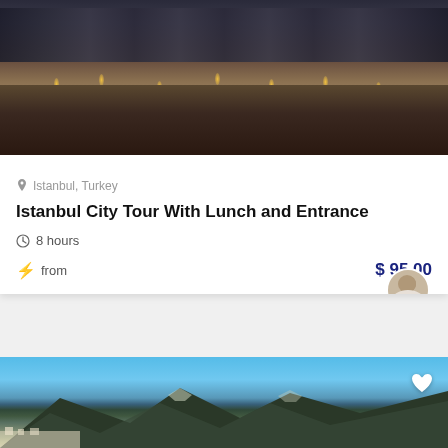[Figure (photo): Interior view of a historic building (likely Hagia Sophia in Istanbul) showing ornate stone architecture with arches, columns, and numerous hanging lights, captured in HDR photography style]
Istanbul, Turkey
Istanbul City Tour With Lunch and Entrance
8 hours
from
$ 95.00
[Figure (photo): Panoramic coastal view showing dramatic rocky mountains and cliffs with white buildings of what appears to be Amalfi Coast town below, against a clear blue sky]